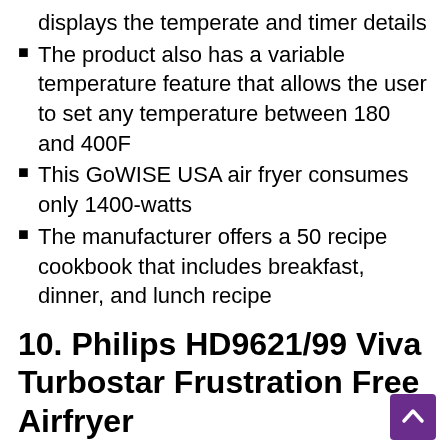displays the temperate and timer details
The product also has a variable temperature feature that allows the user to set any temperature between 180 and 400F
This GoWISE USA air fryer consumes only 1400-watts
The manufacturer offers a 50 recipe cookbook that includes breakfast, dinner, and lunch recipe
10. Philips HD9621/99 Viva Turbostar Frustration Free Airfryer